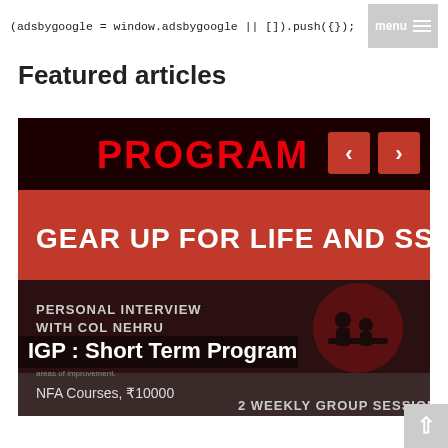(adsbygoogle = window.adsbygoogle || []).push({});
Featured articles
[Figure (screenshot): Banner image for SSB/military coaching program. Dark background with red band. Large bold red text 'PROGRAM' at top center with red navigation arrow buttons < > on right. Below, a red horizontal band with bold white text 'GEAR UP FOR LIFE AND SSB'. Lower dark section shows 'PERSONAL INTERVIEW WITH COL NEHRU', a circular icon of two people at a desk, white bold overlay text 'IGP : Short Term Program', subtext 'NFA Courses, ₹10000', and bottom text '2 WEEKLY GROUP SESSIONS'.]